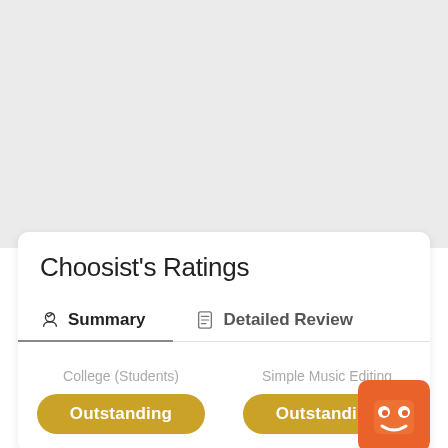Choosist's Ratings
Summary
Detailed Review
College (Students)
Outstanding
Simple Music Editing
Outstanding
[Figure (illustration): Orange robot/emoji mascot icon in bottom right corner of UI card]